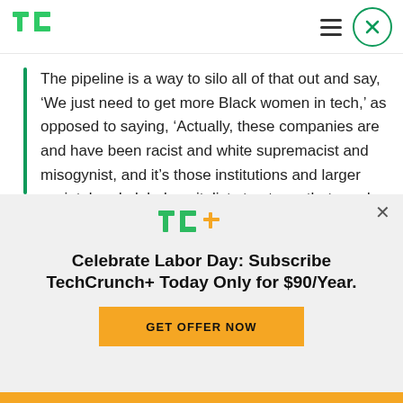TechCrunch logo and navigation
The pipeline is a way to silo all of that out and say, ‘We just need to get more Black women in tech,’ as opposed to saying, ‘Actually, these companies are and have been racist and white supremacist and misogynist, and it’s those institutions and larger societal and global capitalist structures that need to change.
Celebrate Labor Day: Subscribe TechCrunch+ Today Only for $90/Year.
GET OFFER NOW